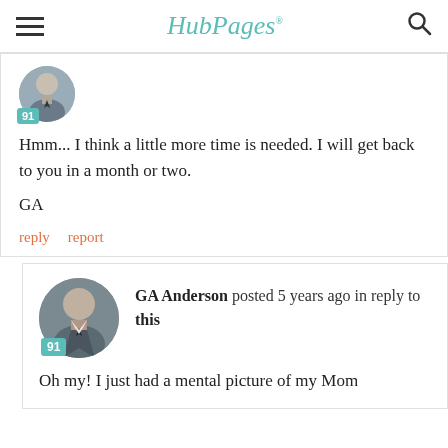HubPages
[Figure (photo): Profile photo of a man in a suit and tie, circular avatar with badge showing 91]
Hmm... I think a little more time is needed. I will get back to you in a month or two.

GA
reply   report
[Figure (photo): Profile photo of GA Anderson, a man in a suit and tie, circular avatar with badge showing 91]
GA Anderson posted 5 years ago in reply to this
Oh my! I just had a mental picture of my Mom